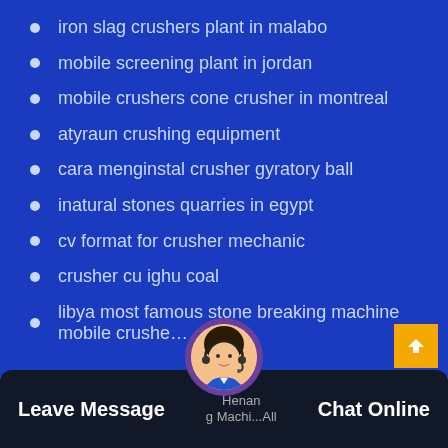iron slag crushers plant in malabo
mobile screening plant in jordan
mobile crushers cone crusher in montreal
atyraun crushing equipment
cara menginstal crusher gyratory ball
inatural stones quarries in egypt
cv format for crusher mechanic
crusher cu ighu coal
libya most famous stone breaking machine mobile crushe…
Leave Message   Henan...g Machi...   Chat Online   All